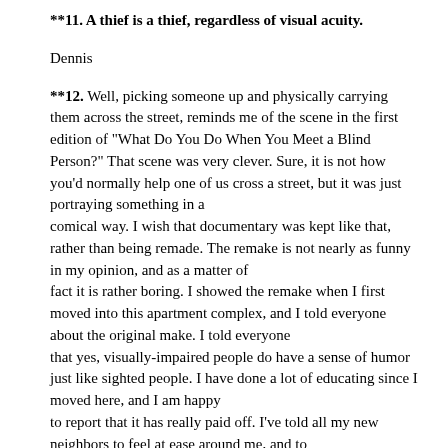**11. A thief is a thief, regardless of visual acuity.
Dennis
**12. Well, picking someone up and physically carrying them across the street, reminds me of the scene in the first edition of "What Do You Do When You Meet a Blind Person?" That scene was very clever. Sure, it is not how you'd normally help one of us cross a street, but it was just portraying something in a comical way. I wish that documentary was kept like that, rather than being remade. The remake is not nearly as funny in my opinion, and as a matter of fact it is rather boring. I showed the remake when I first moved into this apartment complex, and I told everyone about the original make. I told everyone that yes, visually-impaired people do have a sense of humor just like sighted people. I have done a lot of educating since I moved here, and I am happy to report that it has really paid off. I've told all my new neighbors to feel at ease around me, and to